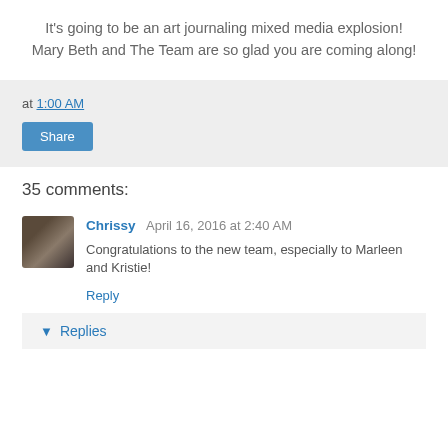It's going to be an art journaling mixed media explosion!
Mary Beth and The Team are so glad you are coming along!
at 1:00 AM
Share
35 comments:
Chrissy  April 16, 2016 at 2:40 AM
Congratulations to the new team, especially to Marleen and Kristie!
Reply
Replies